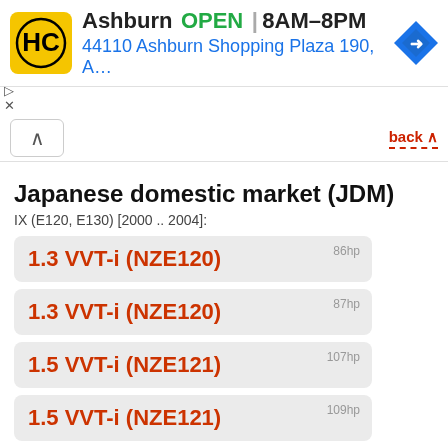[Figure (screenshot): Ad banner for HC (Home Care / hardware store) in Ashburn, showing logo, OPEN status, hours 8AM-8PM, address 44110 Ashburn Shopping Plaza 190, A..., and a navigation arrow icon]
back ▲
Japanese domestic market (JDM)
IX (E120, E130) [2000 .. 2004]:
1.3 VVT-i (NZE120) 86hp
1.3 VVT-i (NZE120) 87hp
1.5 VVT-i (NZE121) 107hp
1.5 VVT-i (NZE121) 109hp
1.5 VVT-i (NZE124) 103hp